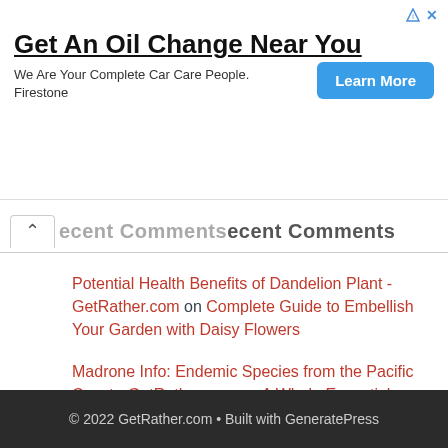[Figure (screenshot): Advertisement banner: 'Get An Oil Change Near You' with Learn More button, Firestone branding]
Recent Comments
Potential Health Benefits of Dandelion Plant - GetRather.com on Complete Guide to Embellish Your Garden with Daisy Flowers
Madrone Info: Endemic Species from the Pacific Coast - GetRather.com on A Whole Essential Things About Douglas Fir Tree
© 2022 GetRather.com • Built with GeneratePress